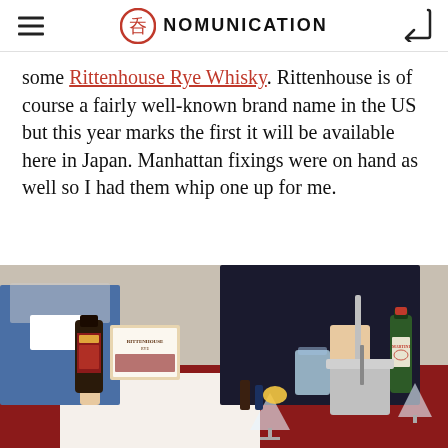NOMUNICATION
some Rittenhouse Rye Whisky. Rittenhouse is of course a fairly well-known brand name in the US but this year marks the first it will be available here in Japan. Manhattan fixings were on hand as well so I had them whip one up for me.
[Figure (photo): Photo of a bar table with Rittenhouse Rye whisky bottles and Martini vermouth bottle, with a person in a dark suit stirring a drink in a mixing glass. An ice bucket and cocktail glasses are visible on a red tablecloth.]